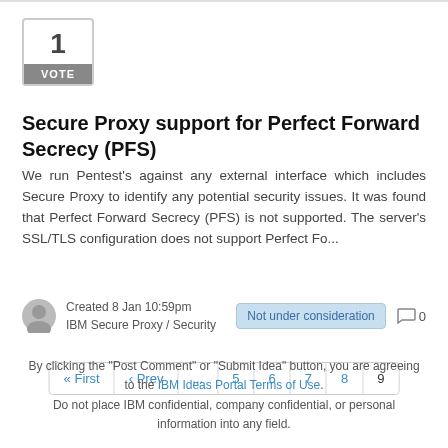[Figure (other): Vote widget showing '1 VOTE' in a box with grey background label]
Secure Proxy support for Perfect Forward Secrecy (PFS)
We run Pentest's against any external interface which includes Secure Proxy to identify any potential security issues. It was found that Perfect Forward Secrecy (PFS) is not supported. The server's SSL/TLS configuration does not support Perfect Fo...
Created 8 Jan 10:59pm
IBM Secure Proxy / Security
Not under consideration   0
« First  ‹ Prev  ...  5  6  7  8  9
By clicking the "Post Comment" or "Submit Idea" button, you are agreeing to the IBM Ideas Portal Terms of Use. Do not place IBM confidential, company confidential, or personal information into any field.